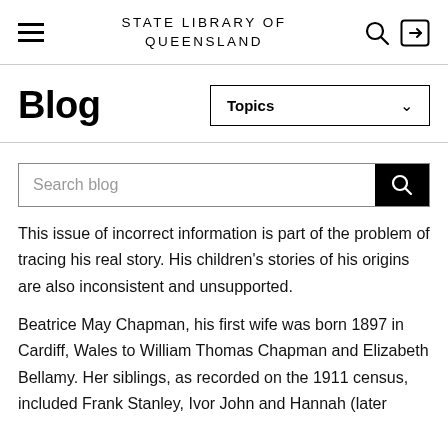STATE LIBRARY OF QUEENSLAND
Blog
Topics
[Figure (screenshot): Search blog input box with black search button icon]
This issue of incorrect information is part of the problem of tracing his real story. His children's stories of his origins are also inconsistent and unsupported.
Beatrice May Chapman, his first wife was born 1897 in Cardiff, Wales to William Thomas Chapman and Elizabeth Bellamy. Her siblings, as recorded on the 1911 census, included Frank Stanley, Ivor John and Hannah (later